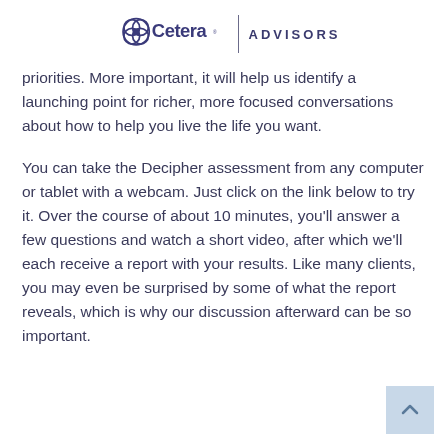Cetera ADVISORS
priorities. More important, it will help us identify a launching point for richer, more focused conversations about how to help you live the life you want.
You can take the Decipher assessment from any computer or tablet with a webcam. Just click on the link below to try it. Over the course of about 10 minutes, you'll answer a few questions and watch a short video, after which we'll each receive a report with your results. Like many clients, you may even be surprised by some of what the report reveals, which is why our discussion afterward can be so important.